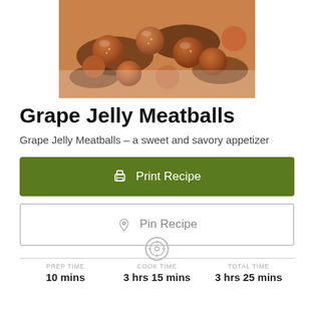[Figure (photo): Close-up photo of glazed meatballs in a dark sauce, warm amber and brown tones]
Grape Jelly Meatballs
Grape Jelly Meatballs – a sweet and savory appetizer
Print Recipe
Pin Recipe
PREP TIME 10 mins  COOK TIME 3 hrs 15 mins  TOTAL TIME 3 hrs 25 mins